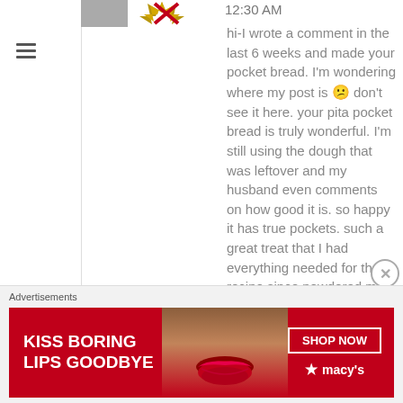[Figure (screenshot): User avatar area with gray rectangle and gold star icon, plus timestamp 12:30 AM]
hi-I wrote a comment in the last 6 weeks and made your pocket bread. I'm wondering where my post is 😕 don't see it here. your pita pocket bread is truly wonderful. I'm still using the dough that was leftover and my husband even comments on how good it is. so happy it has true pockets. such a great treat that I had everything needed for the recipe since powdered milk is always in the pantry for emergencies and I collect honey.
thank you for this incredible recipe
Advertisements
[Figure (screenshot): Macy's advertisement banner: red background with woman's face and lips, text 'KISS BORING LIPS GOODBYE', SHOP NOW button, Macy's star logo]